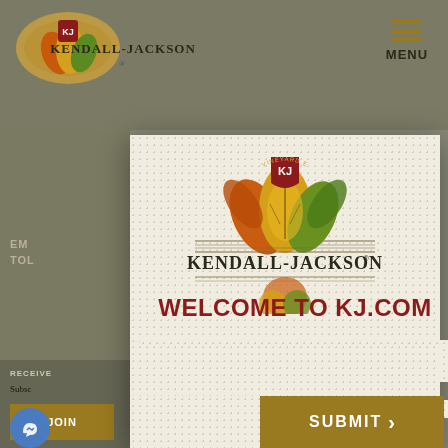[Figure (logo): Kendall-Jackson logo in top-left background area, showing brand mark and text]
MENU
EM
TOL
[Figure (logo): Kendall-Jackson Vineyard Estates logo in modal overlay, showing wine brand crest with autumn leaves and shield, with KENDALL-JACKSON text]
WELCOME TO KJ.COM
By clicking Submit you verify that you are 21 years of age or older and agree to our cookie policy.
View our cookie policy
RECEIVE
Subsc
Kend
JOIN
SUBMIT